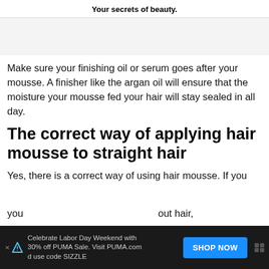Your secrets of beauty.
Make sure your finishing oil or serum goes after your mousse. A finisher like the argan oil will ensure that the moisture your mousse fed your hair will stay sealed in all day.
The correct way of applying hair mousse to straight hair
Yes, there is a correct way of using hair mousse. If you... put hair, you...